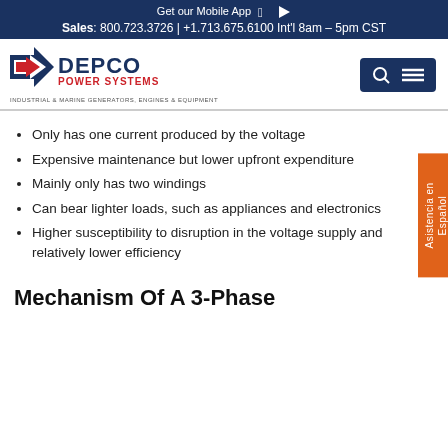Get our Mobile App [Apple] [Play] | Sales: 800.723.3726 | +1.713.675.6100 Int'l 8am – 5pm CST
[Figure (logo): DEPCO Power Systems logo with tagline: Industrial & Marine Generators, Engines & Equipment]
Only has one current produced by the voltage
Expensive maintenance but lower upfront expenditure
Mainly only has two windings
Can bear lighter loads, such as appliances and electronics
Higher susceptibility to disruption in the voltage supply and relatively lower efficiency
Mechanism Of A 3-Phase